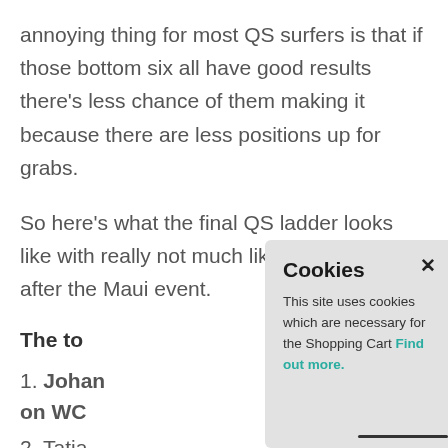annoying thing for most QS surfers is that if those bottom six all have good results there's less chance of them making it because there are less positions up for grabs.
So here's what the final QS ladder looks like with really not much likely to change after the Maui event.
The to
1. Johan on WC
2. Tatia current
3. Silvana Lima (BRA) – currently #12 on
[Figure (screenshot): Cookie consent modal dialog overlaying the page content. Title: 'Cookies', close button (×) at top right. Body text: 'This site uses cookies which are necessary for the Shopping Cart Find out more.' where 'Find out more.' is a teal/cyan colored link.]